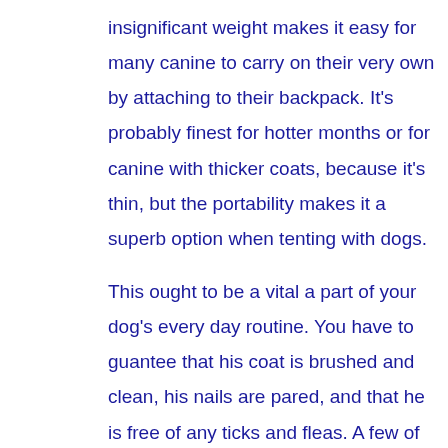insignificant weight makes it easy for many canine to carry on their very own by attaching to their backpack. It's probably finest for hotter months or for canine with thicker coats, because it's thin, but the portability makes it a superb option when tenting with dogs.

This ought to be a vital a part of your dog's every day routine. You have to guantee that his coat is brushed and clean, his nails are pared, and that he is free of any ticks and fleas. A few of the merchandise that you need to use to do all this are dog shampoo, conditioner and deodorant.